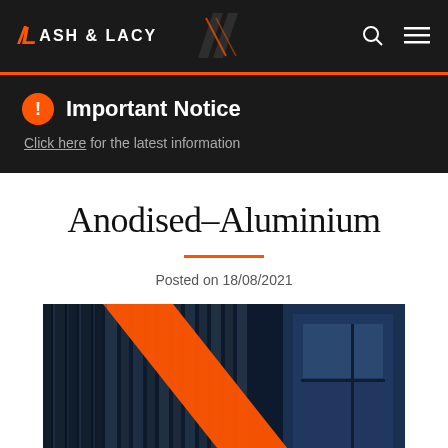ASH & LACY
Important Notice
Click here for the latest information
Anodised–Aluminium
Posted on 18/08/2021
[Figure (photo): Close-up photograph of anodised aluminium architectural cladding panels on a building facade, with a diagonal orange stripe cutting across dark blue metallic fins and window glazing visible on the right side.]